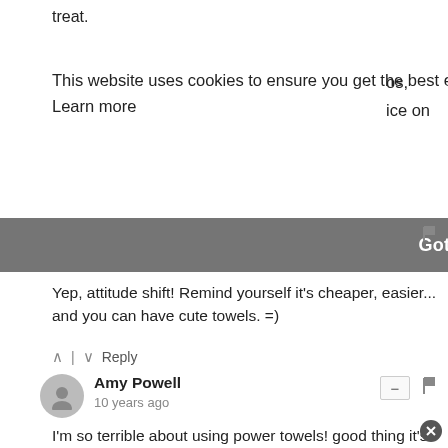treat.
This website uses cookies to ensure you get the best experience on our website. Learn more
os, ice on
[Figure (screenshot): Dark gray 'Got it!' cookie consent button bar spanning the width of the page]
[Figure (illustration): Flag icon in top right area]
Yep, attitude shift! Remind yourself it's cheaper, easier... and you can have cute towels. =)
^ | v Reply
[Figure (illustration): Gray avatar circle icon for Amy Powell]
Amy Powell
10 years ago
[Figure (illustration): Minus/collapse button]
[Figure (illustration): Flag icon next to Amy Powell comment]
I'm so terrible about using power towels! good thing it's only my husband & I at home, because then I'd waste even more. I know I need to get better. thanks for the tips!!
hope you had a great weekend! {I have a giveaway going on right now & would love for you to enter. amyreneonline.com}
^ | v Reply
[Figure (illustration): Close/X button circle in bottom right corner]